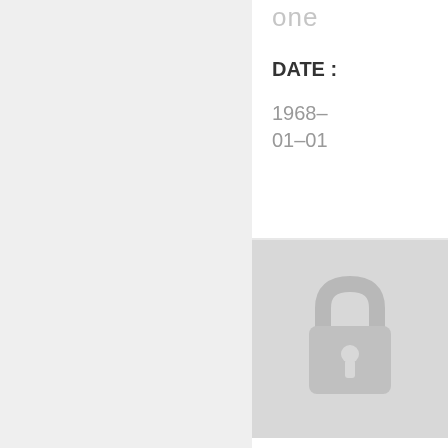one
DATE : 1968-01-01
[Figure (illustration): Lock/padlock icon on gray background indicating protected or restricted content]
The limits of prot
DATE